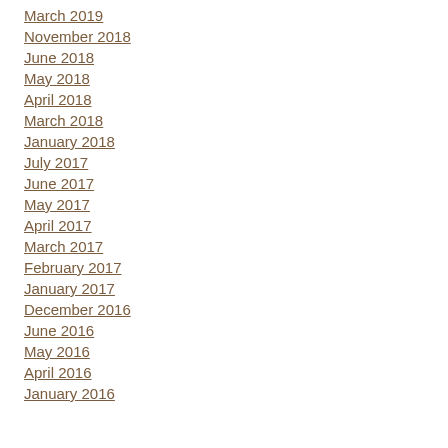March 2019
November 2018
June 2018
May 2018
April 2018
March 2018
January 2018
July 2017
June 2017
May 2017
April 2017
March 2017
February 2017
January 2017
December 2016
June 2016
May 2016
April 2016
January 2016